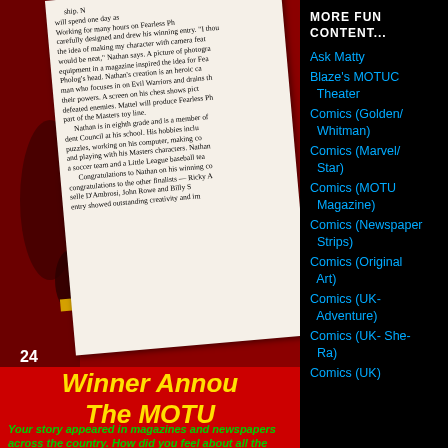[Figure (photo): A scanned magazine page clipping showing an article about Nathan who designed a MOTU character, placed on a red background. The clipping discusses his winning entry, his background in eighth grade, and congratulations to other finalists including Ricky A, selle D'Ambrosi, John Rowe and Billy S. Page number 24 visible.]
Winner Annou The MOTU
Your story appeared in magazines and newspapers across the country. How did you feel about all the